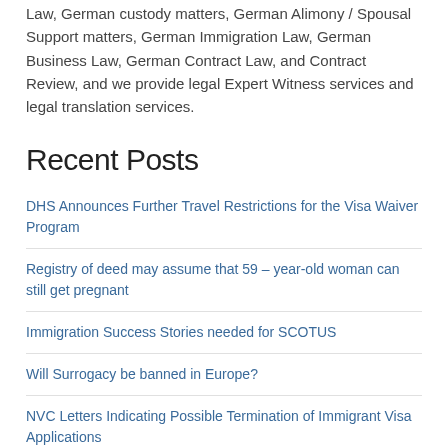Law, German custody matters, German Alimony / Spousal Support matters, German Immigration Law, German Business Law, German Contract Law, and Contract Review, and we provide legal Expert Witness services and legal translation services.
Recent Posts
DHS Announces Further Travel Restrictions for the Visa Waiver Program
Registry of deed may assume that 59 – year-old woman can still get pregnant
Immigration Success Stories needed for SCOTUS
Will Surrogacy be banned in Europe?
NVC Letters Indicating Possible Termination of Immigrant Visa Applications